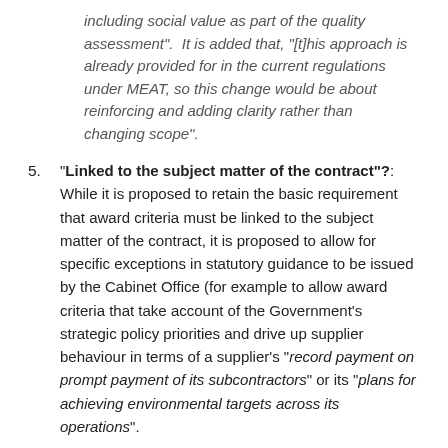including social value as part of the quality assessment". It is added that, "[t]his approach is already provided for in the current regulations under MEAT, so this change would be about reinforcing and adding clarity rather than changing scope".
5. "Linked to the subject matter of the contract"?: While it is proposed to retain the basic requirement that award criteria must be linked to the subject matter of the contract, it is proposed to allow for specific exceptions in statutory guidance to be issued by the Cabinet Office (for example to allow award criteria that take account of the Government's strategic policy priorities and drive up supplier behaviour in terms of a supplier's "record payment on prompt payment of its subcontractors" or its "plans for achieving environmental targets across its operations".